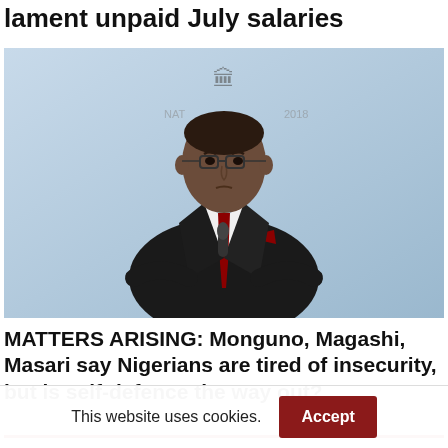lament unpaid July salaries
[Figure (photo): Man in dark suit with red tie speaking at a podium or panel, light blue background with a logo/crest visible above his head]
MATTERS ARISING: Monguno, Magashi, Masari say Nigerians are tired of insecurity, but is self-defence the way out?
This website uses cookies. Accept